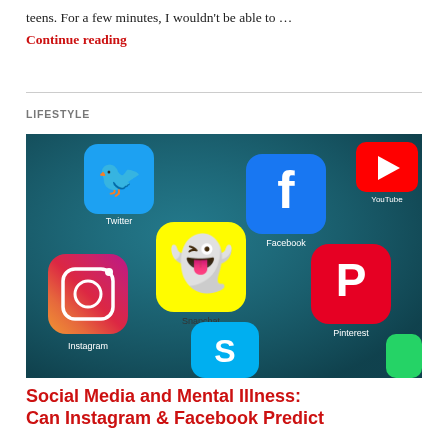teens. For a few minutes, I wouldn't be able to …
Continue reading
LIFESTYLE
[Figure (photo): Close-up of a smartphone screen showing social media app icons including Twitter, Facebook, YouTube, Snapchat, Instagram, Pinterest, and Skype arranged on a dark teal background.]
Social Media and Mental Illness: Can Instagram & Facebook Predict